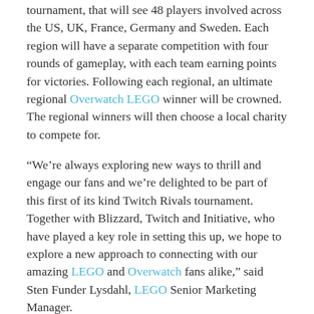tournament, that will see 48 players involved across the US, UK, France, Germany and Sweden. Each region will have a separate competition with four rounds of gameplay, with each team earning points for victories. Following each regional, an ultimate regional Overwatch LEGO winner will be crowned. The regional winners will then choose a local charity to compete for.
“We’re always exploring new ways to thrill and engage our fans and we’re delighted to be part of this first of its kind Twitch Rivals tournament. Together with Blizzard, Twitch and Initiative, who have played a key role in setting this up, we hope to explore a new approach to connecting with our amazing LEGO and Overwatch fans alike,” said Sten Funder Lysdahl, LEGO Senior Marketing Manager.
“We wanted to add an extra LEGO touch to the